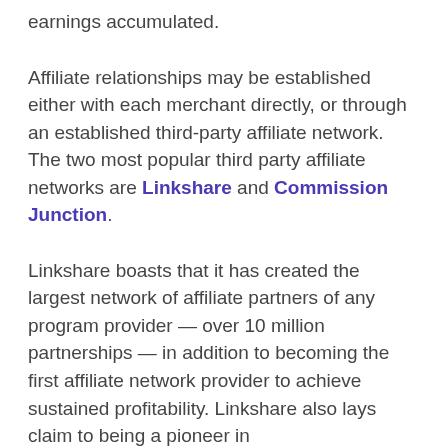earnings accumulated.
Affiliate relationships may be established either with each merchant directly, or through an established third-party affiliate network. The two most popular third party affiliate networks are Linkshare and Commission Junction.
Linkshare boasts that it has created the largest network of affiliate partners of any program provider — over 10 million partnerships — in addition to becoming the first affiliate network provider to achieve sustained profitability. Linkshare also lays claim to being a pioneer in